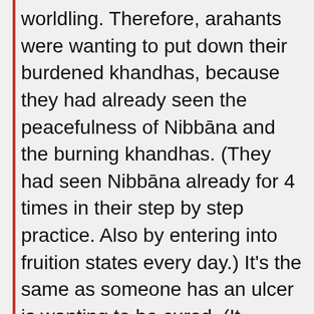worldling. Therefore, arahants were wanting to put down their burdened khandhas, because they had already seen the peacefulness of Nibbāna and the burning khandhas. (They had seen Nibbāna already for 4 times in their step by step practice. Also by entering into fruition states every day.) It's the same as someone has an ulcer is wanting to be cured. (It reminds me about Chao Khoon Nor, a well known practicing monk in Thailand. He lived in a dwelling place which was closed all the time and practiced there for 45 years. Only